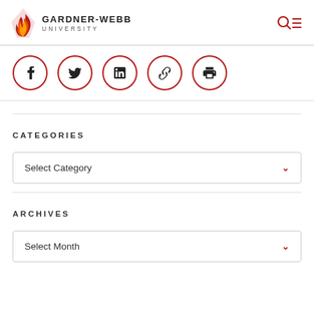GARDNER-WEBB UNIVERSITY
[Figure (infographic): Social sharing icons in red circles: Facebook, Twitter, LinkedIn, Link, Print]
CATEGORIES
Select Category
ARCHIVES
Select Month